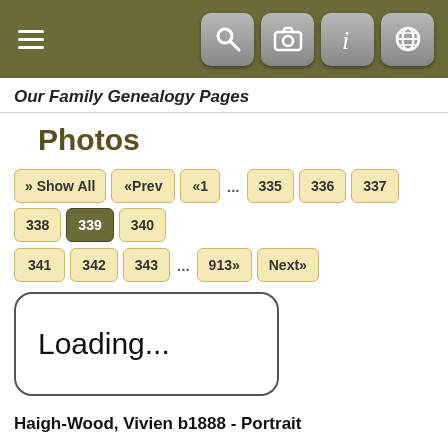Our Family Genealogy Pages
Photos
» Show All  «Prev  «1  ...  335  336  337  338  339  340  341  342  343  ...  913»  Next»
Loading...
Haigh-Wood, Vivien b1888 - Portrait